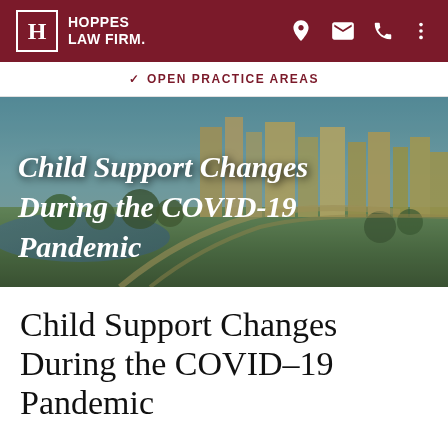HOPPES LAW FIRM
OPEN PRACTICE AREAS
[Figure (photo): Aerial cityscape photo of a city skyline with green parks and waterway in the foreground, used as hero banner image with overlaid italic bold white text reading 'Child Support Changes During the COVID-19 Pandemic']
Child Support Changes During the COVID-19 Pandemic